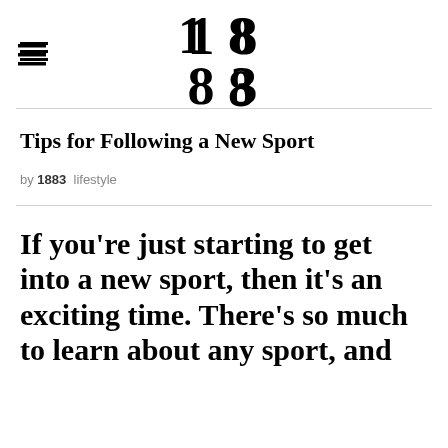[Figure (logo): 1883 magazine logo — stylized numerals 1, 8, 8, 3 stacked vertically in bold serif typeface]
Tips for Following a New Sport
by 1883  lifestyle
If you're just starting to get into a new sport, then it's an exciting time. There's so much to learn about any sport, and